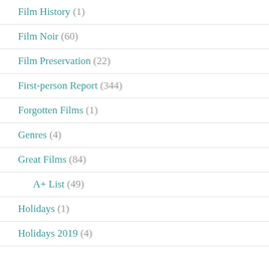Film History (1)
Film Noir (60)
Film Preservation (22)
First-person Report (344)
Forgotten Films (1)
Genres (4)
Great Films (84)
A+ List (49)
Holidays (1)
Holidays 2019 (4)